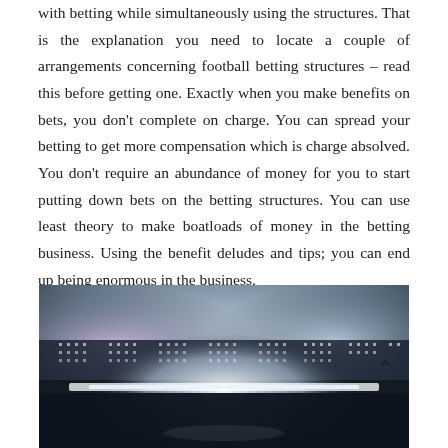with betting while simultaneously using the structures. That is the explanation you need to locate a couple of arrangements concerning football betting structures – read this before getting one. Exactly when you make benefits on bets, you don't complete on charge. You can spread your betting to get more compensation which is charge absolved. You don't require an abundance of money for you to start putting down bets on the betting structures. You can use least theory to make boatloads of money in the betting business. Using the benefit deludes and tips; you can end up being enormous in the business.
[Figure (photo): A stadium at night with bright floodlights illuminating the field. The lights create a dramatic glowing effect against a dark sky. A caret/up-arrow symbol is visible in the upper right of the image.]